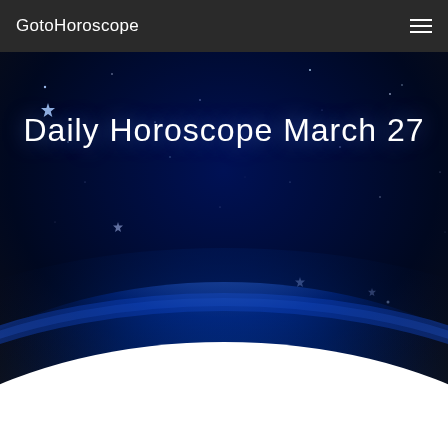GotoHoroscope
[Figure (illustration): Night sky banner image with dark navy/black background, scattered small stars and a few larger star shapes, transitioning to a bright white glowing horizon at the bottom representing the Earth's atmosphere from space.]
Daily Horoscope March 27